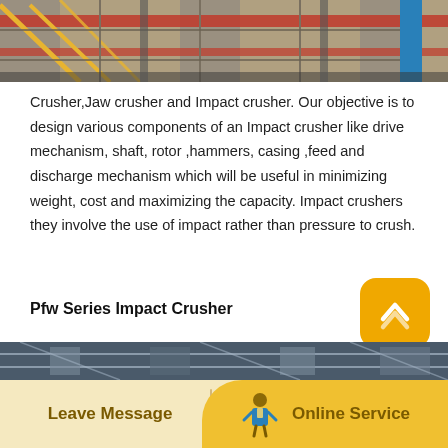[Figure (photo): Construction site image showing steel framework and scaffolding with red and blue structural elements]
Crusher,Jaw crusher and Impact crusher. Our objective is to design various components of an Impact crusher like drive mechanism, shaft, rotor ,hammers, casing ,feed and discharge mechanism which will be useful in minimizing weight, cost and maximizing the capacity. Impact crushers they involve the use of impact rather than pressure to crush.
Pfw Series Impact Crusher
Apr 11, 2015 Most downloaded models tagged with jaw - GrabCAD Design great product faster with free CAD collaboration, free CAD models and access to the world's largest community of mechanical engineers. brochure roller bearing cone crushers, jaw and impact crushers, horizontal and incline.
[Figure (photo): Industrial machinery/crusher equipment photo at bottom of page]
Leave Message   Online Service